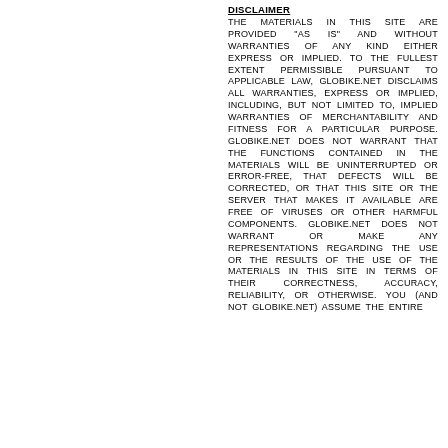DISCLAIMER
THE MATERIALS IN THIS SITE ARE PROVIDED "AS IS" AND WITHOUT WARRANTIES OF ANY KIND EITHER EXPRESS OR IMPLIED. TO THE FULLEST EXTENT PERMISSIBLE PURSUANT TO APPLICABLE LAW, GLOBIKE.NET DISCLAIMS ALL WARRANTIES, EXPRESS OR IMPLIED, INCLUDING, BUT NOT LIMITED TO, IMPLIED WARRANTIES OF MERCHANTABILITY AND FITNESS FOR A PARTICULAR PURPOSE. GLOBIKE.NET DOES NOT WARRANT THAT THE FUNCTIONS CONTAINED IN THE MATERIALS WILL BE UNINTERRUPTED OR ERROR-FREE, THAT DEFECTS WILL BE CORRECTED, OR THAT THIS SITE OR THE SERVER THAT MAKES IT AVAILABLE ARE FREE OF VIRUSES OR OTHER HARMFUL COMPONENTS. GLOBIKE.NET DOES NOT WARRANT OR MAKE ANY REPRESENTATIONS REGARDING THE USE OR THE RESULTS OF THE USE OF THE MATERIALS IN THIS SITE IN TERMS OF THEIR CORRECTNESS, ACCURACY, RELIABILITY, OR OTHERWISE. YOU (AND NOT GLOBIKE.NET) ASSUME THE ENTIRE